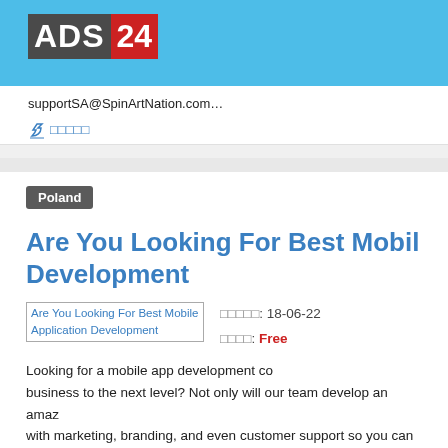ADS 24
supportSA@SpinArtNation.com…
□□□□□
Poland
Are You Looking For Best Mobile Application Development
□□□□□: 18-06-22
□□□□: Free
Looking for a mobile app development co... business to the next level? Not only will our team develop an amaz... with marketing, branding, and even customer support so you can fo...
□□□□□